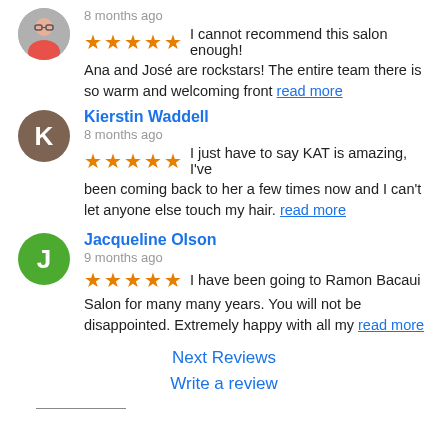[Figure (photo): Circular avatar photo of a person wearing pink/red shirt and glasses]
8 months ago
★★★★★  I cannot recommend this salon enough! Ana and José are rockstars! The entire team there is so warm and welcoming front read more
Kierstin Waddell
8 months ago
★★★★★  I just have to say KAT is amazing, I've been coming back to her a few times now and I can't let anyone else touch my hair. read more
Jacqueline Olson
9 months ago
★★★★★  I have been going to Ramon Bacaui Salon for many many years. You will not be disappointed. Extremely happy with all my read more
Next Reviews
Write a review